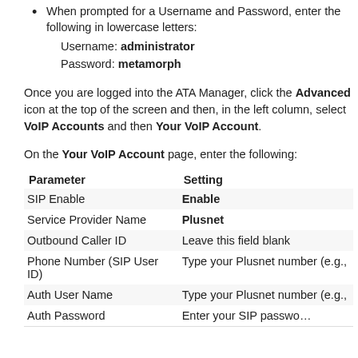When prompted for a Username and Password, enter the following in lowercase letters:
    Username: administrator
    Password: metamorph
Once you are logged into the ATA Manager, click the Advanced icon at the top of the screen and then, in the left column, select VoIP Accounts and then Your VoIP Account.
On the Your VoIP Account page, enter the following:
| Parameter | Setting |
| --- | --- |
| SIP Enable | Enable |
| Service Provider Name | Plusnet |
| Outbound Caller ID | Leave this field blank |
| Phone Number (SIP User ID) | Type your Plusnet number (e.g., |
| Auth User Name | Type your Plusnet number (e.g., |
| Auth Password | Enter your SIP password... |